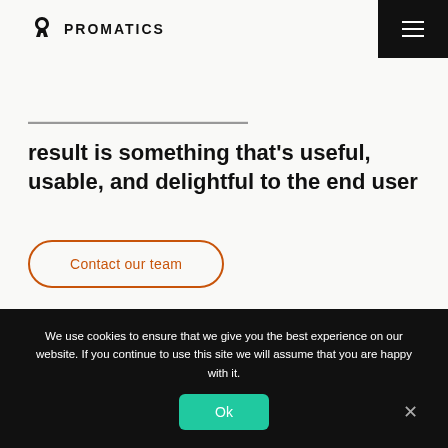PROMATICS
result is something that's useful, usable, and delightful to the end user
Contact our team
[Figure (photo): A person wearing a white dress shirt and a brown tie, cropped at chest/shoulder level]
We use cookies to ensure that we give you the best experience on our website. If you continue to use this site we will assume that you are happy with it.